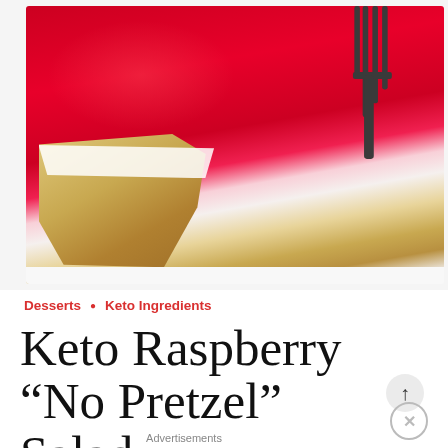[Figure (photo): Close-up photo of a layered dessert bar with bright red raspberry jello on top, white cream cheese layer in the middle, and a golden pretzel-style crust on the bottom, being lifted by a fork on a white plate]
Desserts • Keto Ingredients
Keto Raspberry “No Pretzel” Salad
Advertisements